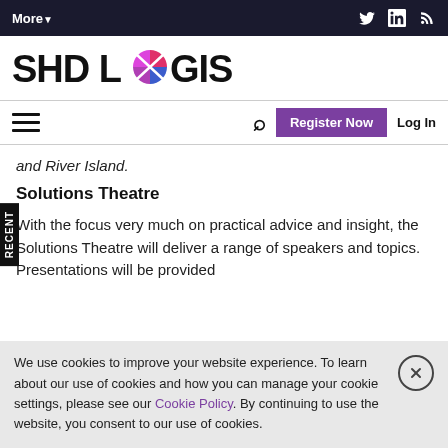More▼
[Figure (logo): SHD Logistics logo with bold black text and colorful circular icon replacing the 'O' in LOGISTICS]
Register Now | Log In
and River Island.
Solutions Theatre
With the focus very much on practical advice and insight, the Solutions Theatre will deliver a range of speakers and topics. Presentations will be provided
We use cookies to improve your website experience. To learn about our use of cookies and how you can manage your cookie settings, please see our Cookie Policy. By continuing to use the website, you consent to our use of cookies.